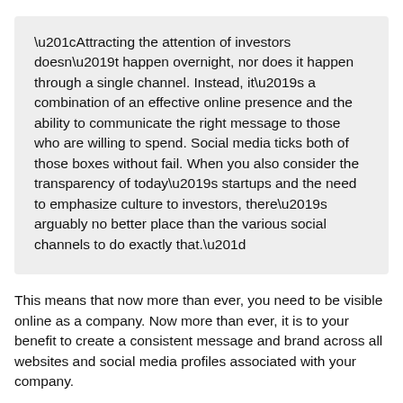“Attracting the attention of investors doesn’t happen overnight, nor does it happen through a single channel. Instead, it’s a combination of an effective online presence and the ability to communicate the right message to those who are willing to spend. Social media ticks both of those boxes without fail. When you also consider the transparency of today’s startups and the need to emphasize culture to investors, there’s arguably no better place than the various social channels to do exactly that.”
This means that now more than ever, you need to be visible online as a company. Now more than ever, it is to your benefit to create a consistent message and brand across all websites and social media profiles associated with your company.
Since the first impression we formulate about a person or